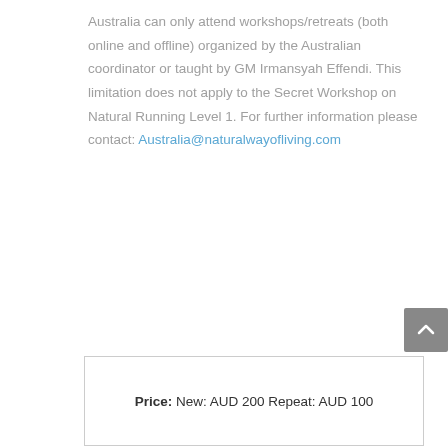Australia can only attend workshops/retreats (both online and offline) organized by the Australian coordinator or taught by GM Irmansyah Effendi. This limitation does not apply to the Secret Workshop on Natural Running Level 1. For further information please contact: Australia@naturalwayofliving.com
Price: New: AUD 200 Repeat: AUD 100